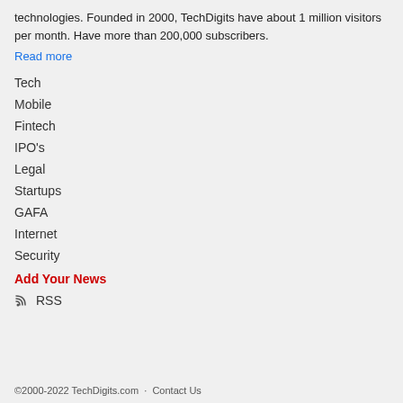technologies. Founded in 2000, TechDigits have about 1 million visitors per month. Have more than 200,000 subscribers.
Read more
Tech
Mobile
Fintech
IPO's
Legal
Startups
GAFA
Internet
Security
Add Your News
RSS
©2000-2022 TechDigits.com · Contact Us